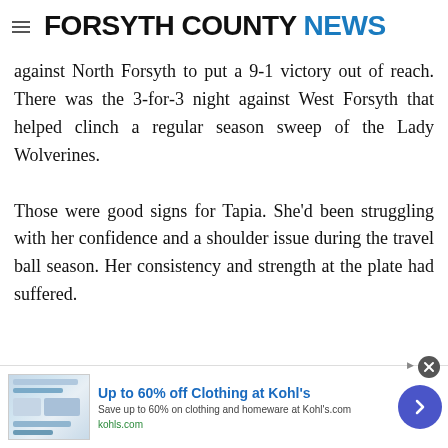FORSYTH COUNTY NEWS
against North Forsyth to put a 9-1 victory out of reach. There was the 3-for-3 night against West Forsyth that helped clinch a regular season sweep of the Lady Wolverines.
Those were good signs for Tapia. She'd been struggling with her confidence and a shoulder issue during the travel ball season. Her consistency and strength at the plate had suffered.
[Figure (other): Advertisement banner for Kohl's: 'Up to 60% off Clothing at Kohl's. Save up to 60% on clothing and homeware at Kohls.com. kohls.com']